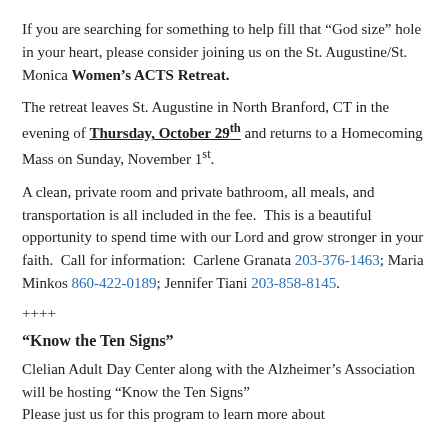If you are searching for something to help fill that “God size” hole in your heart, please consider joining us on the St. Augustine/St. Monica Women’s ACTS Retreat.
The retreat leaves St. Augustine in North Branford, CT in the evening of Thursday, October 29th and returns to a Homecoming Mass on Sunday, November 1st.
A clean, private room and private bathroom, all meals, and transportation is all included in the fee.  This is a beautiful opportunity to spend time with our Lord and grow stronger in your faith.  Call for information:  Carlene Granata 203-376-1463; Maria Minkos 860-422-0189; Jennifer Tiani 203-858-8145.
++++
“Know the Ten Signs”
Clelian Adult Day Center along with the Alzheimer’s Association will be hosting “Know the Ten Signs”
Please just us for this program to learn more about